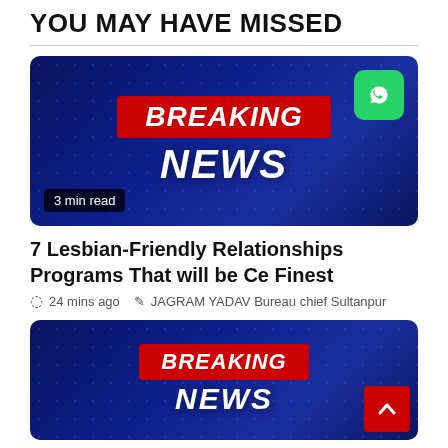YOU MAY HAVE MISSED
[Figure (illustration): Breaking News banner image with red BREAKING bar, white italic NEWS text, WhatsApp icon, and '3 min read' badge on a dark blue hexagonal pattern background]
7 Lesbian-Friendly Relationships Programs That will be Ce Finest
24 mins ago   JAGRAM YADAV Bureau chief Sultanpur
[Figure (illustration): Second Breaking News banner image with red BREAKING bar and partial white italic NEWS text on a dark blue hexagonal pattern background, with a red back-to-top arrow button]